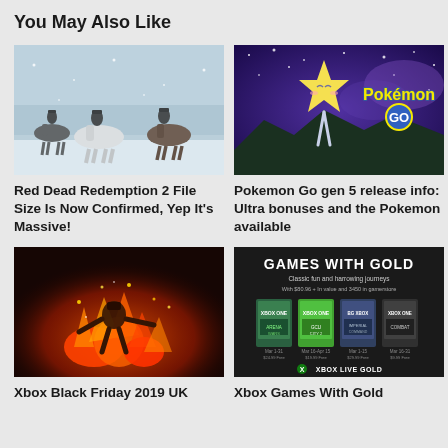You May Also Like
[Figure (photo): Red Dead Redemption 2 screenshot: cowboys on horseback riding through snowy landscape]
[Figure (photo): Pokemon Go promotional image: Jirachi floating against purple starry sky with Pokemon GO logo]
Red Dead Redemption 2 File Size Is Now Confirmed, Yep It's Massive!
Pokemon Go gen 5 release info: Ultra bonuses and the Pokemon available
[Figure (photo): Xbox game (likely Mortal Kombat) screenshot: fiery combat scene with warrior character surrounded by flames]
[Figure (photo): Xbox Games With Gold promotional image showing game covers and Xbox Live Gold logo]
Xbox Black Friday 2019 UK
Xbox Games With Gold